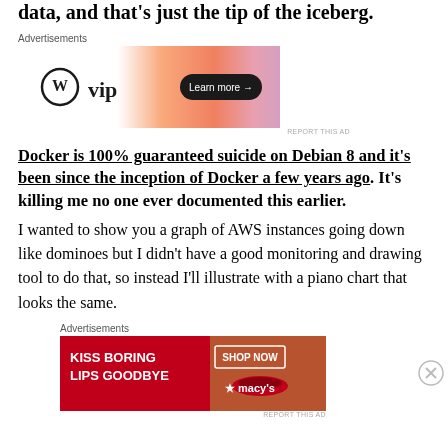data, and that's just the tip of the iceberg.
[Figure (other): WordPress VIP advertisement banner with orange gradient background and 'Learn more →' button]
Docker is 100% guaranteed suicide on Debian 8 and it's been since the inception of Docker a few years ago. It's killing me no one ever documented this earlier.
I wanted to show you a graph of AWS instances going down like dominoes but I didn't have a good monitoring and drawing tool to do that, so instead I'll illustrate with a piano chart that looks the same.
[Figure (other): Macy's advertisement banner: KISS BORING LIPS GOODBYE with woman's face and SHOP NOW button]
REPORT THIS AD